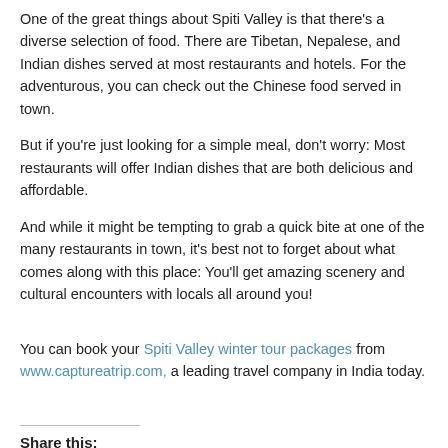One of the great things about Spiti Valley is that there's a diverse selection of food. There are Tibetan, Nepalese, and Indian dishes served at most restaurants and hotels. For the adventurous, you can check out the Chinese food served in town.
But if you're just looking for a simple meal, don't worry: Most restaurants will offer Indian dishes that are both delicious and affordable.
And while it might be tempting to grab a quick bite at one of the many restaurants in town, it's best not to forget about what comes along with this place: You'll get amazing scenery and cultural encounters with locals all around you!
You can book your Spiti Valley winter tour packages from www.captureatrip.com, a leading travel company in India today.
Share this:
Facebook  Twitter  LinkedIn  Google